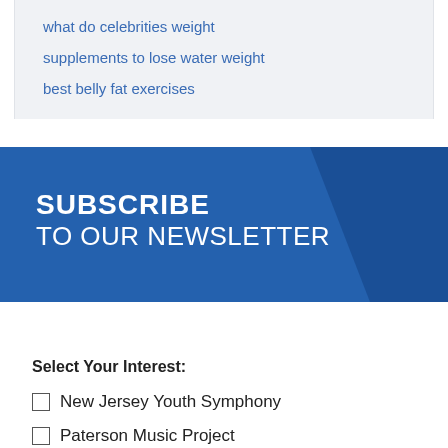what do celebrities weight
supplements to lose water weight
best belly fat exercises
[Figure (infographic): Blue banner with diagonal cut-off shape on right side, containing text SUBSCRIBE TO OUR NEWSLETTER in white on blue background]
Select Your Interest:
New Jersey Youth Symphony
Paterson Music Project